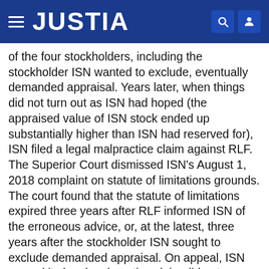JUSTIA
of the four stockholders, including the stockholder ISN wanted to exclude, eventually demanded appraisal. Years later, when things did not turn out as ISN had hoped (the appraised value of ISN stock ended up substantially higher than ISN had reserved for), ISN filed a legal malpractice claim against RLF. The Superior Court dismissed ISN’s August 1, 2018 complaint on statute of limitations grounds. The court found that the statute of limitations expired three years after RLF informed ISN of the erroneous advice, or, at the latest, three years after the stockholder ISN sought to exclude demanded appraisal. On appeal, ISN argued its legal malpractice claim did not accrue until after the appraisal action valued ISN’s stock because only then could ISN claim damages. Although it applied a different analysis, the Delaware Supreme Court agreed with the Superior Court that the statute of limitations began to run in